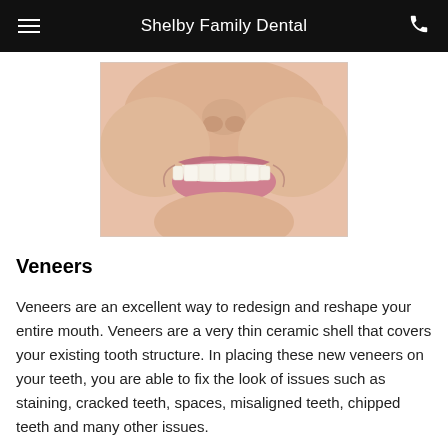Shelby Family Dental
[Figure (photo): Close-up photograph of a person's smile showing teeth, from nose to chin.]
Veneers
Veneers are an excellent way to redesign and reshape your entire mouth. Veneers are a very thin ceramic shell that covers your existing tooth structure. In placing these new veneers on your teeth, you are able to fix the look of issues such as staining, cracked teeth, spaces, misaligned teeth, chipped teeth and many other issues.